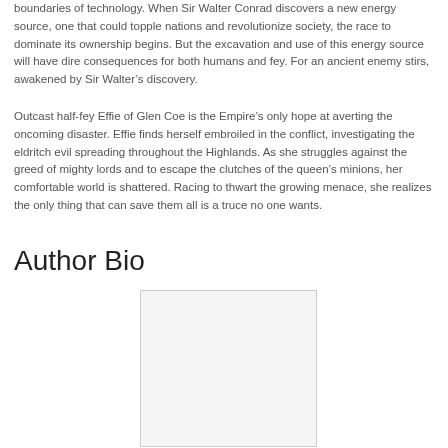boundaries of technology. When Sir Walter Conrad discovers a new energy source, one that could topple nations and revolutionize society, the race to dominate its ownership begins. But the excavation and use of this energy source will have dire consequences for both humans and fey. For an ancient enemy stirs, awakened by Sir Walter’s discovery.
Outcast half-fey Effie of Glen Coe is the Empire’s only hope at averting the oncoming disaster. Effie finds herself embroiled in the conflict, investigating the eldritch evil spreading throughout the Highlands. As she struggles against the greed of mighty lords and to escape the clutches of the queen’s minions, her comfortable world is shattered. Racing to thwart the growing menace, she realizes the only thing that can save them all is a truce no one wants.
Author Bio
[Figure (photo): Author photo placeholder box]